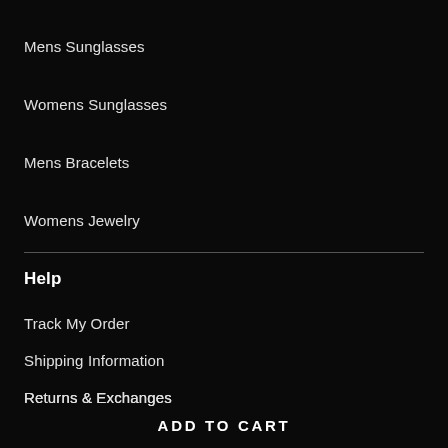Mens Sunglasses
Womens Sunglasses
Mens Bracelets
Womens Jewelry
Help
Track My Order
Shipping Information
Returns & Exchanges
FAQ
Contact Us
ADD TO CART